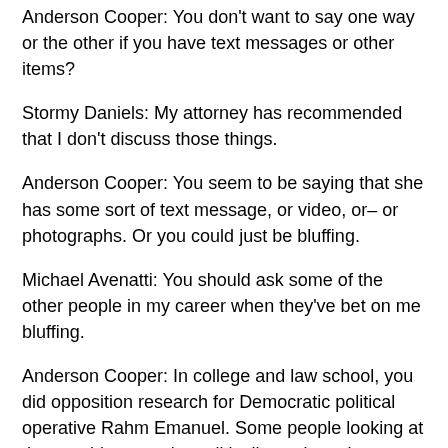Anderson Cooper: You don't want to say one way or the other if you have text messages or other items?
Stormy Daniels: My attorney has recommended that I don't discuss those things.
Anderson Cooper: You seem to be saying that she has some sort of text message, or video, or– or photographs. Or you could just be bluffing.
Michael Avenatti: You should ask some of the other people in my career when they've bet on me bluffing.
Anderson Cooper: In college and law school, you did opposition research for Democratic political operative Rahm Emanuel. Some people looking at that would say you're politically motivated.